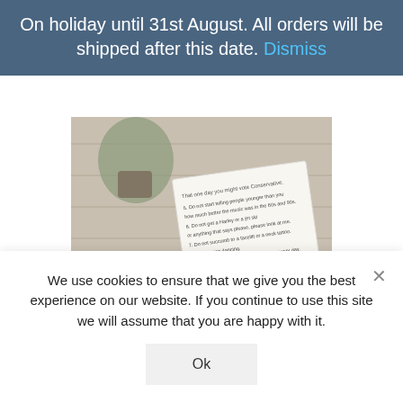On holiday until 31st August. All orders will be shipped after this date. Dismiss
[Figure (photo): A birthday card with a printed poem/list of rules on it, lying on a wooden surface next to a small potted plant.]
Funny 50th Birthday Card with Poem
We use cookies to ensure that we give you the best experience on our website. If you continue to use this site we will assume that you are happy with it.